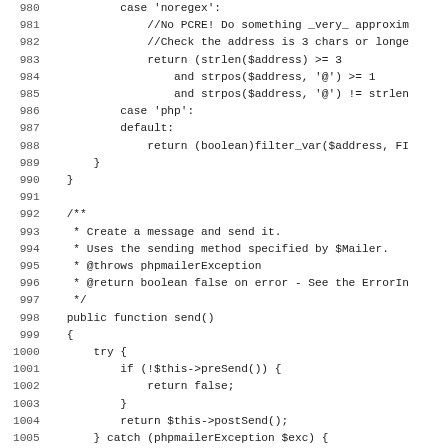Source code listing lines 980-1011 showing PHP code with switch cases for noregex and php/default, and a public function send() with try/catch block.